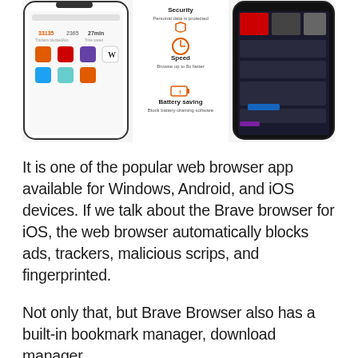[Figure (screenshot): Screenshot showing the Brave browser app on mobile devices. Left panel shows a phone with Brave browser homepage displaying stats (33135 trackers blocked, 2365 ads blocked, 27min saved) and app icons. Middle panel shows features: Security (Personal data is protected), Speed (Browse up to 8x faster) with an orange clock icon, and Battery saving (Block battery-draining software) with an orange battery icon. Right panel shows another phone with what appears to be a social media or games app interface.]
It is one of the popular web browser app available for Windows, Android, and iOS devices. If we talk about the Brave browser for iOS, the web browser automatically blocks ads, trackers, malicious scrips, and fingerprinted.
Not only that, but Brave Browser also has a built-in bookmark manager, download manager,